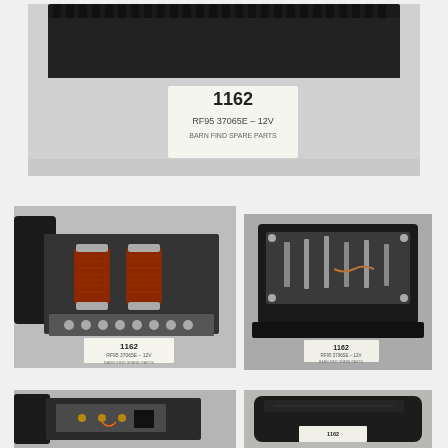[Figure (photo): Close-up top-down photo of a black electrical relay or regulator component with serrated/finned housing. A white label tag is visible showing item number 1162, part number RF95 37065E - 12V, BARN FIND SPARE PARTS.]
[Figure (photo): Interior view of the relay/regulator showing two copper coil windings on a base with multiple terminal posts. A small white label reads 1162, RF95 37065E - 12V, BARN FIND SPARE PARTS.]
[Figure (photo): Bottom/back view of the relay/regulator showing internal mechanism with metal contact arms and wiring on a black housing. A small white label reads 1162, RF95 37065E - 12V, BARN FIND SPARE PARTS.]
[Figure (photo): Side angle view of the relay/regulator component showing internal components and housing from a different angle.]
[Figure (photo): Close-up view of the smooth black top cover/cap of the relay/regulator component.]